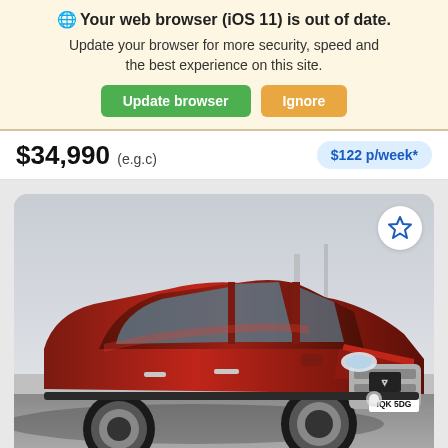⊙ Your web browser (iOS 11) is out of date. Update your browser for more security, speed and the best experience on this site.
Update browser | Ignore
$34,990 (e.g.c)   $122 p/week*
[Figure (photo): Red Mitsubishi Outlander SUV with bull bar and license plate IQK 5DG, photographed from a front-angled perspective against a light overcast sky background.]